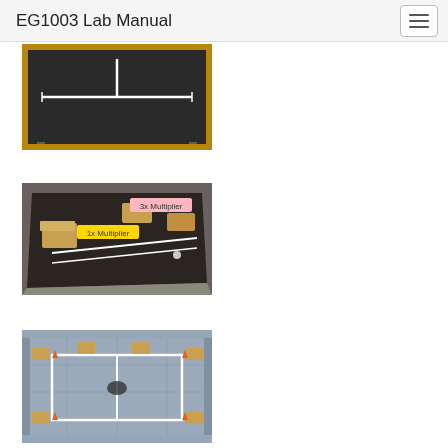EG1003 Lab Manual
[Figure (photo): Overhead view of a lab track/table with black surface, wooden frame, and white T-shaped line markings on the surface. The table has metal legs.]
[Figure (photo): Angled view of a lab track table with black surface, wooden ramp/block obstacles, and labeled multiplier zones: '1x Multiplier' (yellow label) and '3x Multiplier' (pink label). White lines mark the track lanes.]
[Figure (photo): Top-down view of a lighter-colored lab track with wooden block obstacles, orange/red cone markers, white line markings forming a rectangular course, and a small robot or object in the center.]